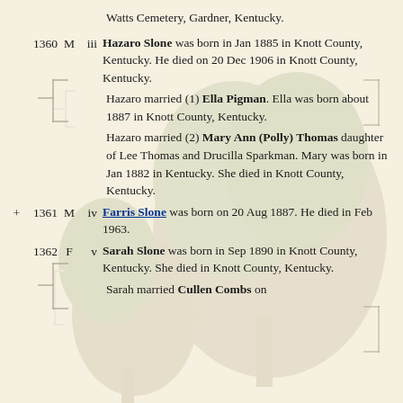Watts Cemetery, Gardner, Kentucky.
1360 M iii Hazaro Slone was born in Jan 1885 in Knott County, Kentucky. He died on 20 Dec 1906 in Knott County, Kentucky.
Hazaro married (1) Ella Pigman. Ella was born about 1887 in Knott County, Kentucky.
Hazaro married (2) Mary Ann (Polly) Thomas daughter of Lee Thomas and Drucilla Sparkman. Mary was born in Jan 1882 in Kentucky. She died in Knott County, Kentucky.
+ 1361 M iv Farris Slone was born on 20 Aug 1887. He died in Feb 1963.
1362 F v Sarah Slone was born in Sep 1890 in Knott County, Kentucky. She died in Knott County, Kentucky.
Sarah married Cullen Combs on